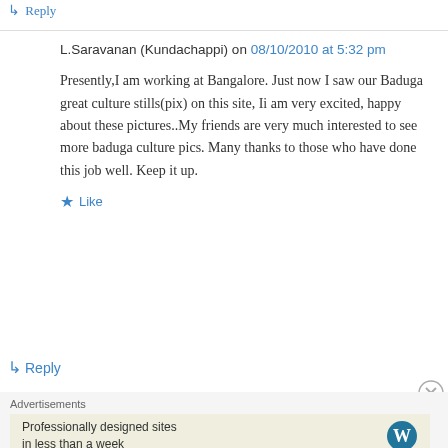↳ Reply
L.Saravanan (Kundachappi) on 08/10/2010 at 5:32 pm
Presently,I am working at Bangalore. Just now I saw our Baduga great culture stills(pix) on this site, Ii am very excited, happy about these pictures..My friends are very much interested to see more baduga culture pics. Many thanks to those who have done this job well. Keep it up.
★ Like
↳ Reply
Advertisements
Professionally designed sites in less than a week